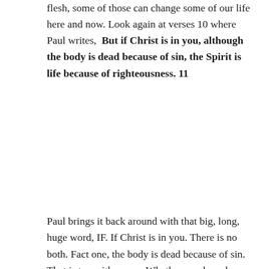flesh, some of those can change some of our life here and now. Look again at verses 10 where Paul writes,  But if Christ is in you, although the body is dead because of sin, the Spirit is life because of righteousness. 11
Paul brings it back around with that big, long, huge word, IF. If Christ is in you. There is no both. Fact one, the body is dead because of sin. That is true either way. Whether you have been saved by Grace through Faith in Christ, or whether you have not. Whether you have a mind and a life set on the Spirit or a mind and a life set on the flesh. The body is dead because of sin. What happens after that?